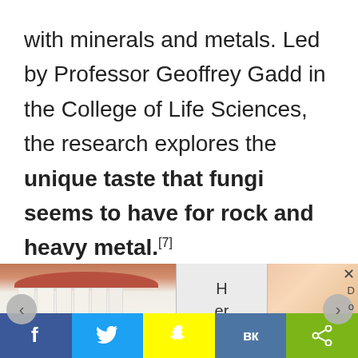with minerals and metals. Led by Professor Geoffrey Gadd in the College of Life Sciences, the research explores the unique taste that fungi seems to have for rock and heavy metal.[7]

This environmental science has demonstrated the incredible power of
[Figure (photo): Advertisement overlay showing two images (mouth/teeth on left, hands on right) with center text 'Here...' and navigation arrows, plus X and Do buttons]
[Figure (infographic): Social media sharing bar with Facebook, Twitter, Snapchat, VK, and share buttons]